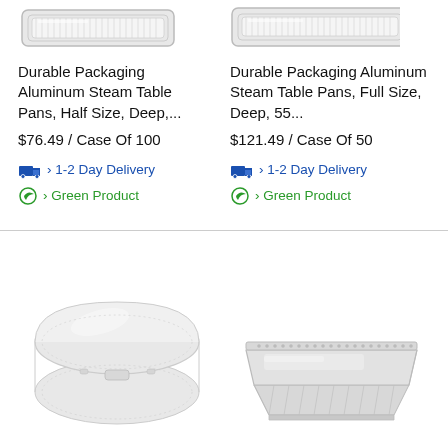[Figure (photo): Aluminum steam table pan half size, viewed from above at slight angle, silver metallic]
[Figure (photo): Aluminum steam table pan full size, viewed from above at slight angle, silver metallic (partially visible, right side cut off)]
Durable Packaging Aluminum Steam Table Pans, Half Size, Deep,...
$76.49 / Case Of 100
› 1-2 Day Delivery
› Green Product
Durable Packaging Aluminum Steam Table Pans, Full Size, Deep, 55...
$121.49 / Case Of 50
› 1-2 Day Delivery
› Green Product
[Figure (photo): Clear plastic hinged clamshell food container, closed lid, viewed from slight angle]
[Figure (photo): Aluminum steam table pan with lid/cover, viewed from above at angle, silver metallic]